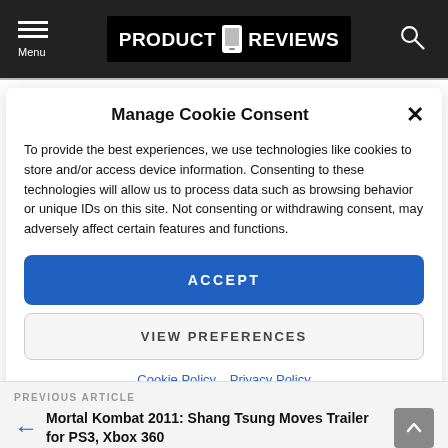Menu | PRODUCT REVIEWS
Manage Cookie Consent
To provide the best experiences, we use technologies like cookies to store and/or access device information. Consenting to these technologies will allow us to process data such as browsing behavior or unique IDs on this site. Not consenting or withdrawing consent, may adversely affect certain features and functions.
ACCEPT
VIEW PREFERENCES
Cookie Policy   Privacy Policy
PREVIOUS ARTICLE
Mortal Kombat 2011: Shang Tsung Moves Trailer for PS3, Xbox 360